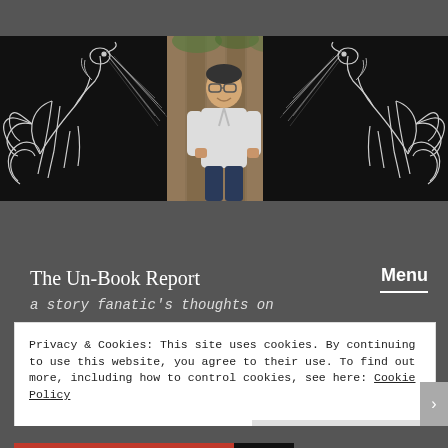[Figure (illustration): Website banner with black background showing two white line-art horse/unicorn illustrations facing center, with a photo of a person (smiling, wearing glasses and a light jacket) in the center]
The Un-Book Report
a story fanatic's thoughts on
Menu
Privacy & Cookies: This site uses cookies. By continuing to use this website, you agree to their use.
To find out more, including how to control cookies, see here: Cookie Policy
Close and accept